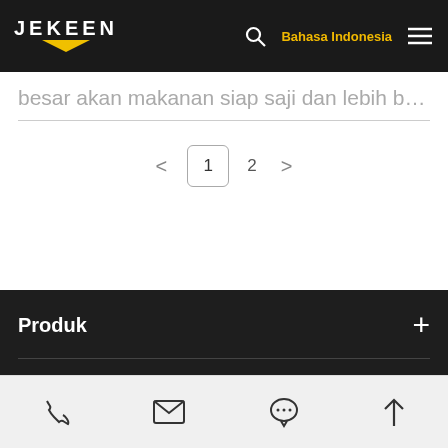JEKEEN — Bahasa Indonesia navigation bar
besar akan makanan siap saji dan lebih banya…
< 1 2 >
Produk +
Phone | Mail | Chat | Up arrow icons